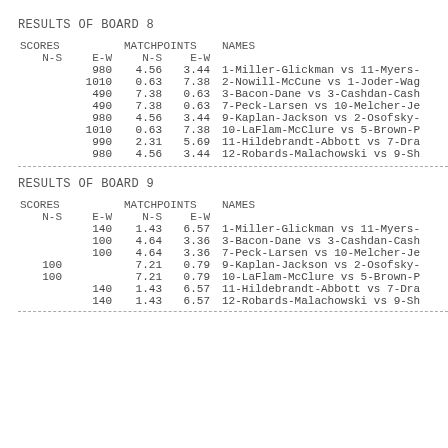RESULTS OF BOARD 8
| N-S | E-W | N-S | E-W | NAMES |
| --- | --- | --- | --- | --- |
|  | 980 | 4.56 | 3.44 | 1-Miller-Glickman vs 11-Myers- |
|  | 1010 | 0.63 | 7.38 | 2-Nowill-McCune vs 1-Joder-Wag |
|  | 490 | 7.38 | 0.63 | 3-Bacon-Dane vs 3-Cashdan-Cash |
|  | 490 | 7.38 | 0.63 | 7-Peck-Larsen vs 10-Melcher-Je |
|  | 980 | 4.56 | 3.44 | 9-Kaplan-Jackson vs 2-Osofsky- |
|  | 1010 | 0.63 | 7.38 | 10-LaFlam-McClure vs 5-Brown-P |
|  | 990 | 2.31 | 5.69 | 11-Hildebrandt-Abbott vs 7-Dra |
|  | 980 | 4.56 | 3.44 | 12-Robards-Malachowski vs 9-Sh |
RESULTS OF BOARD 9
| N-S | E-W | N-S | E-W | NAMES |
| --- | --- | --- | --- | --- |
|  | 140 | 1.43 | 6.57 | 1-Miller-Glickman vs 11-Myers- |
|  | 100 | 4.64 | 3.36 | 3-Bacon-Dane vs 3-Cashdan-Cash |
|  | 100 | 4.64 | 3.36 | 7-Peck-Larsen vs 10-Melcher-Je |
| 100 |  | 7.21 | 0.79 | 9-Kaplan-Jackson vs 2-Osofsky- |
| 100 |  | 7.21 | 0.79 | 10-LaFlam-McClure vs 5-Brown-P |
|  | 140 | 1.43 | 6.57 | 11-Hildebrandt-Abbott vs 7-Dra |
|  | 140 | 1.43 | 6.57 | 12-Robards-Malachowski vs 9-Sh |